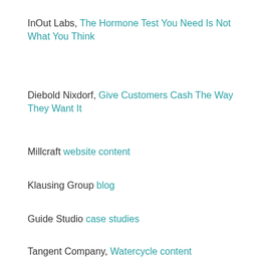InOut Labs, The Hormone Test You Need Is Not What You Think
Diebold Nixdorf, Give Customers Cash The Way They Want It
Millcraft website content
Klausing Group blog
Guide Studio case studies
Tangent Company, Watercycle content